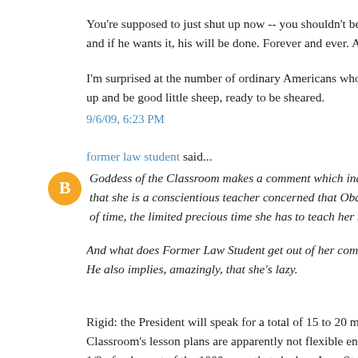You're supposed to just shut up now -- you shouldn't be talkin'. It's his and if he wants it, his will be done. Forever and ever. Amen.
I'm surprised at the number of ordinary Americans who don't understand up and be good little sheep, ready to be sheared.
9/6/09, 6:23 PM
former law student said...
Goddess of the Classroom makes a comment which indicates to any so that she is a conscientious teacher concerned that Obama's speech wi of time, the limited precious time she has to teach her students the cur
And what does Former Law Student get out of her comment? That she He also implies, amazingly, that she's lazy.
Rigid: the President will speak for a total of 15 to 20 minutes. The Go Classroom's lesson plans are apparently not flexible enough to tolerate 1/2 of a day out of the 1000 or so that she has. Law Student Sho...